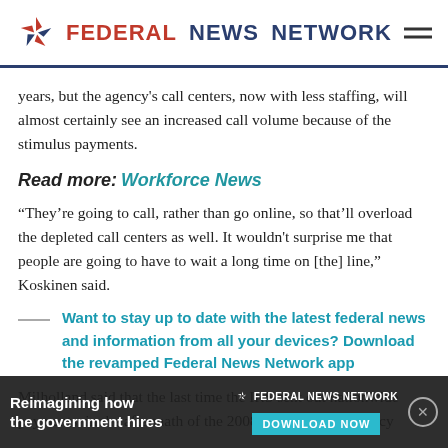FEDERAL NEWS NETWORK
years, but the agency's call centers, now with less staffing, will almost certainly see an increased call volume because of the stimulus payments.
Read more: Workforce News
“They’re going to call, rather than go online, so that’ll overload the depleted call centers as well. It wouldn't surprise me that people are going to have to wait a long time on [the] line,” Koskinen said.
Want to stay up to date with the latest federal news and information from all your devices? Download the revamped Federal News Network app
Milholland said that the last time the IRS sent out nationwide payments, in the aftermath of the 2008 recession, the agency was i... ing whe...